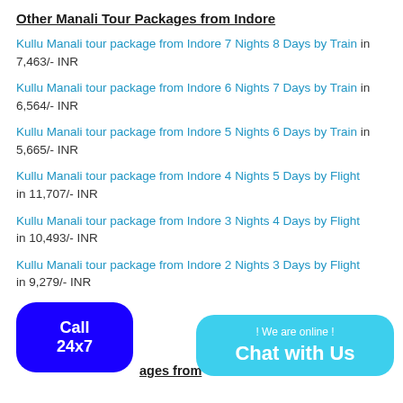Other Manali Tour Packages from Indore
Kullu Manali tour package from Indore 7 Nights 8 Days by Train in 7,463/- INR
Kullu Manali tour package from Indore 6 Nights 7 Days by Train in 6,564/- INR
Kullu Manali tour package from Indore 5 Nights 6 Days by Train in 5,665/- INR
Kullu Manali tour package from Indore 4 Nights 5 Days by Flight in 11,707/- INR
Kullu Manali tour package from Indore 3 Nights 4 Days by Flight in 10,493/- INR
Kullu Manali tour package from Indore 2 Nights 3 Days by Flight in 9,279/- INR
[Figure (other): Call 24x7 button (blue rounded rectangle) and Chat with Us button (cyan rounded rectangle with ! We are online ! text)]